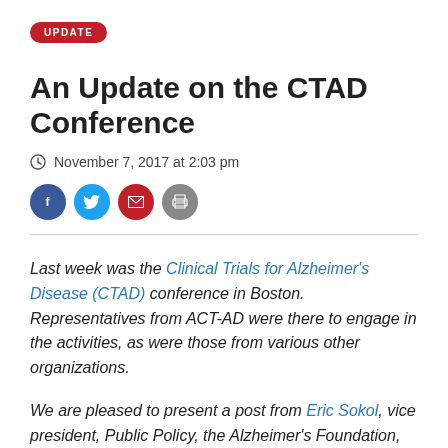UPDATE
An Update on the CTAD Conference
November 7, 2017 at 2:03 pm
[Figure (other): Social sharing icons: Facebook, Twitter, Email, Print]
Last week was the Clinical Trials for Alzheimer's Disease (CTAD) conference in Boston. Representatives from ACT-AD were there to engage in the activities, as were those from various other organizations.
We are pleased to present a post from Eric Sokol, vice president, Public Policy, the Alzheimer's Foundation, about some of the highlights from the conference.